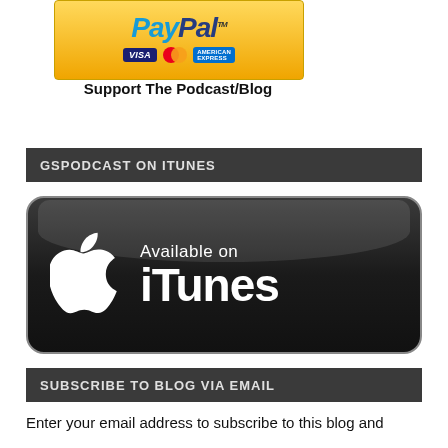[Figure (logo): PayPal payment button with Visa, MasterCard and American Express card logos on a gold gradient background]
Support The Podcast/Blog
GSPODCAST ON ITUNES
[Figure (logo): Available on iTunes badge — black rounded rectangle with Apple logo and text 'Available on iTunes' in white]
SUBSCRIBE TO BLOG VIA EMAIL
Enter your email address to subscribe to this blog and